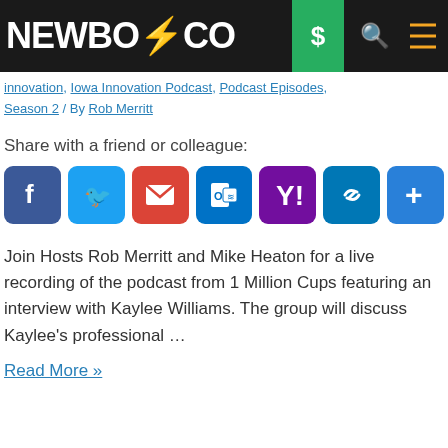NEWBO⚡CO
innovation, Iowa Innovation Podcast, Podcast Episodes, Season 2 / By Rob Merritt
Share with a friend or colleague:
[Figure (other): Social sharing icons row: Facebook, Twitter, Gmail, Outlook, Yahoo, Link, More (+)]
Join Hosts Rob Merritt and Mike Heaton for a live recording of the podcast from 1 Million Cups featuring an interview with Kaylee Williams. The group will discuss Kaylee's professional …
Read More »